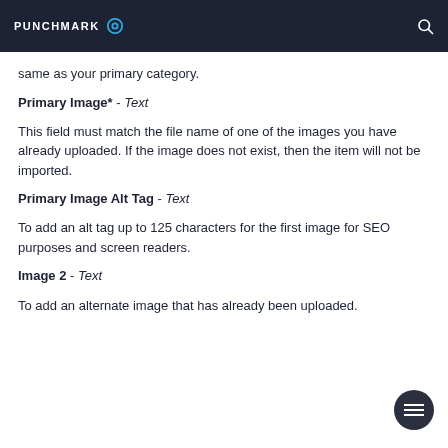PUNCHMARK
same as your primary category.
Primary Image* - Text
This field must match the file name of one of the images you have already uploaded. If the image does not exist, then the item will not be imported.
Primary Image Alt Tag - Text
To add an alt tag up to 125 characters for the first image for SEO purposes and screen readers.
Image 2 - Text
To add an alternate image that has already been uploaded.